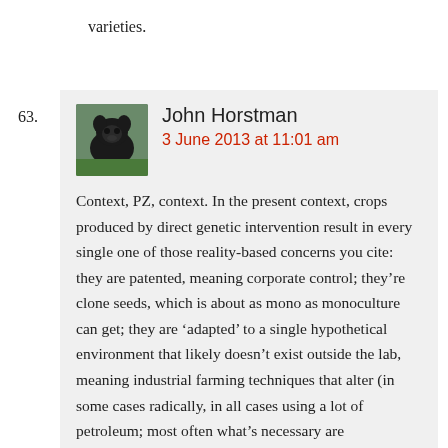varieties.
63. John Horstman
3 June 2013 at 11:01 am

Context, PZ, context. In the present context, crops produced by direct genetic intervention result in every single one of those reality-based concerns you cite: they are patented, meaning corporate control; they’re clone seeds, which is about as mono as monoculture can get; they are ‘adapted’ to a single hypothetical environment that likely doesn’t exist outside the lab, meaning industrial farming techniques that alter (in some cases radically, in all cases using a lot of petroleum; most often what’s necessary are industrially-produced fertilizers and extensive irrigation) the growing